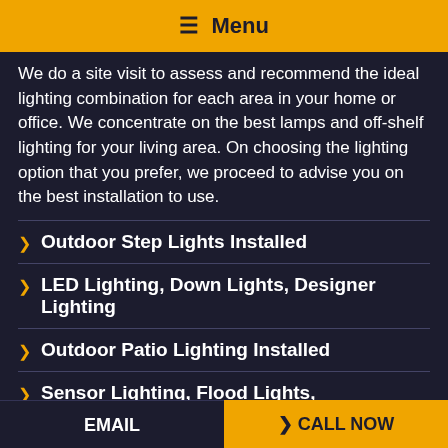☰ Menu
We do a site visit to assess and recommend the ideal lighting combination for each area in your home or office. We concentrate on the best lamps and off-shelf lighting for your living area. On choosing the lighting option that you prefer, we proceed to advise you on the best installation to use.
❯ Outdoor Step Lights Installed
❯ LED Lighting, Down Lights, Designer Lighting
❯ Outdoor Patio Lighting Installed
❯ Sensor Lighting, Flood Lights,
EMAIL   ❯ CALL NOW